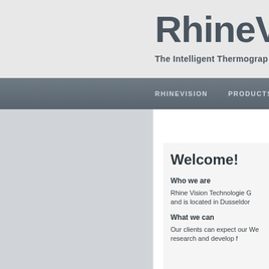RhineVis
The Intelligent Thermograp
RHINEVISION   PRODUCTS
[Figure (other): Left panel gray area - image placeholder]
Welcome!
Who we are
Rhine Vision Technologie G and is located in Dusseldor
What we can
Our clients can expect our We research and develop f